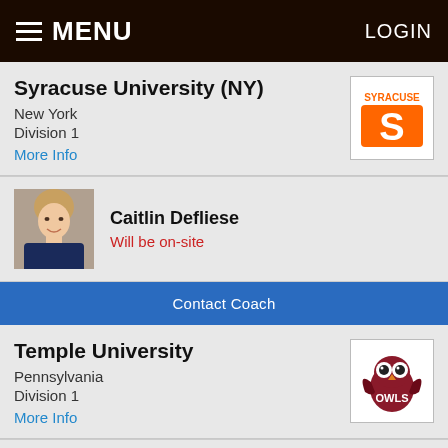MENU  LOGIN
Syracuse University (NY)
New York
Division 1
More Info
[Figure (logo): Syracuse University logo with orange S]
Caitlin Defliese
[Figure (photo): Photo of Caitlin Defliese]
Will be on-site
Contact Coach
Temple University
Pennsylvania
Division 1
More Info
[Figure (logo): Temple University Owls logo]
Jennifer Wong
[Figure (photo): Photo of Jennifer Wong]
Will be on-site